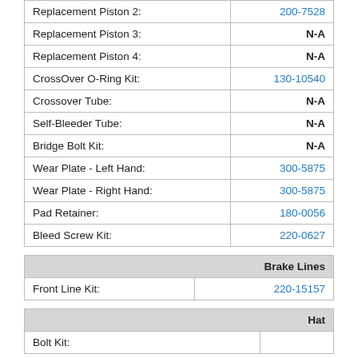| Part | Part Number |
| --- | --- |
| Replacement Piston 2: | 200-7528 |
| Replacement Piston 3: | N-A |
| Replacement Piston 4: | N-A |
| CrossOver O-Ring Kit: | 130-10540 |
| Crossover Tube: | N-A |
| Self-Bleeder Tube: | N-A |
| Bridge Bolt Kit: | N-A |
| Wear Plate - Left Hand: | 300-5875 |
| Wear Plate - Right Hand: | 300-5875 |
| Pad Retainer: | 180-0056 |
| Bleed Screw Kit: | 220-0627 |
| Brake Lines |  |
| --- | --- |
| Front Line Kit: | 220-15157 |
| Hat |  |
| --- | --- |
| Bolt Kit: |  |
| Hub |  |
| --- | --- |